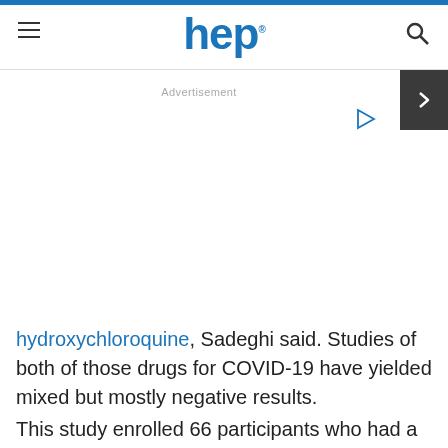hep
Advertisement
hydroxychloroquine, Sadeghi said. Studies of both of those drugs for COVID-19 have yielded mixed but mostly negative results.
This study enrolled 66 participants who had a fever and